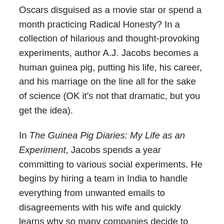Oscars disguised as a movie star or spend a month practicing Radical Honesty? In a collection of hilarious and thought-provoking experiments, author A.J. Jacobs becomes a human guinea pig, putting his life, his career, and his marriage on the line all for the sake of science (OK it's not that dramatic, but you get the idea).
In The Guinea Pig Diaries: My Life as an Experiment, Jacobs spends a year committing to various social experiments. He begins by hiring a team in India to handle everything from unwanted emails to disagreements with his wife and quickly learns why so many companies decide to outsource overseas (I mean, after reading this… I'd consider it). He has a personal assistant to handle day-to-day dealings and also has someone to help him draft emails to pushy bosses and disgruntled friends.